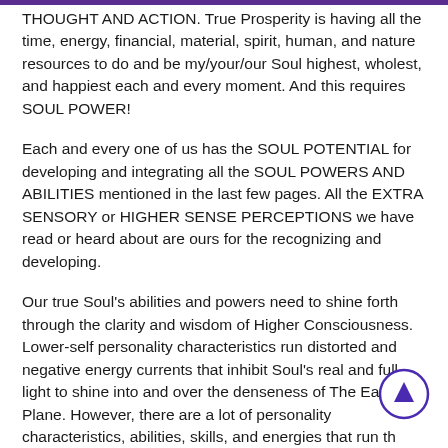THOUGHT AND ACTION. True Prosperity is having all the time, energy, financial, material, spirit, human, and nature resources to do and be my/your/our Soul highest, wholest, and happiest each and every moment. And this requires SOUL POWER!
Each and every one of us has the SOUL POTENTIAL for developing and integrating all the SOUL POWERS AND ABILITIES mentioned in the last few pages. All the EXTRA SENSORY or HIGHER SENSE PERCEPTIONS we have read or heard about are ours for the recognizing and developing.
Our true Soul's abilities and powers need to shine forth through the clarity and wisdom of Higher Consciousness. Lower-self personality characteristics run distorted and negative energy currents that inhibit Soul's real and full light to shine into and over the denseness of The Earth Plane. However, there are a lot of personality characteristics, abilities, skills, and energies that run the energy currents compatible with Divine Love's Light. It is those Higher Self personality characteristics that...